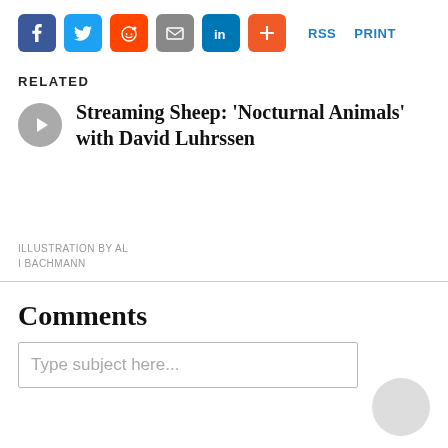[Figure (infographic): Social share buttons row: Facebook (blue), Twitter (light blue), Reddit (orange), Email (gray), LinkedIn (dark blue), Plus (orange-red), followed by RSS and PRINT links in blue]
RELATED
Streaming Sheep: 'Nocturnal Animals' with David Luhrssen
ILLUSTRATION BY ALI BACHMANN
Comments
Type subject here...